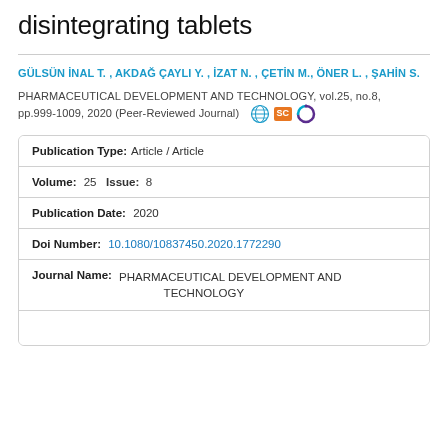disintegrating tablets
GÜLSÜN İNAL T. , AKDAĞ ÇAYLI Y. , İZAT N. , ÇETİN M., ÖNER L. , ŞAHİN S.
PHARMACEUTICAL DEVELOPMENT AND TECHNOLOGY, vol.25, no.8, pp.999-1009, 2020 (Peer-Reviewed Journal)
| Field | Value |
| --- | --- |
| Publication Type: | Article / Article |
| Volume: | 25   Issue:  8 |
| Publication Date: | 2020 |
| Doi Number: | 10.1080/10837450.2020.1772290 |
| Journal Name: | PHARMACEUTICAL DEVELOPMENT AND TECHNOLOGY |